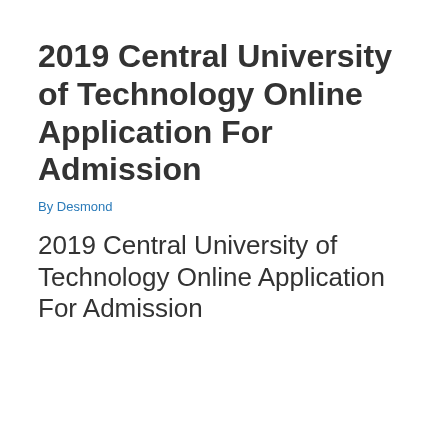2019 Central University of Technology Online Application For Admission
By Desmond
2019 Central University of Technology Online Application For Admission